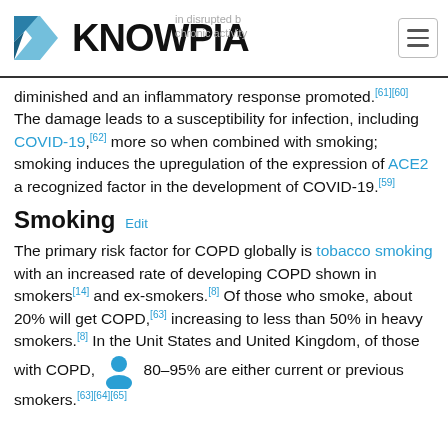KNOWPIA
diminished and an inflammatory response promoted.[61][60] The damage leads to a susceptibility for infection, including COVID-19,[62] more so when combined with smoking; smoking induces the upregulation of the expression of ACE2 a recognized factor in the development of COVID-19.[59]
Smoking  Edit
The primary risk factor for COPD globally is tobacco smoking with an increased rate of developing COPD shown in smokers[14] and ex-smokers.[8] Of those who smoke, about 20% will get COPD,[63] increasing to less than 50% in heavy smokers.[8] In the Unit States and United Kingdom, of those with COPD, 80–95% are either current or previous smokers.[63][64][65]